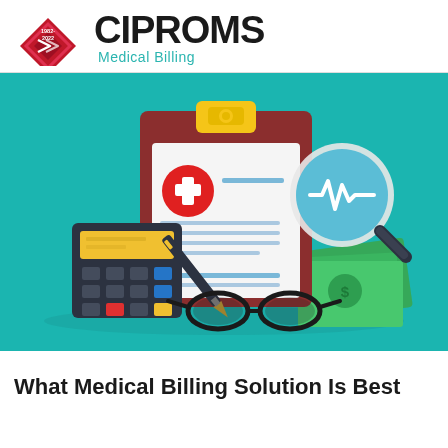[Figure (logo): CIPROMS Medical Billing logo with red diamond shape containing '1982-2022' text and large bold CIPROMS text with 'Medical Billing' subtitle in teal]
[Figure (illustration): Teal background illustration showing a medical clipboard with health cross symbol and form lines, a calculator, a pen, eyeglasses, dollar bills, and a magnifying glass with heartbeat symbol]
What Medical Billing Solution Is Best